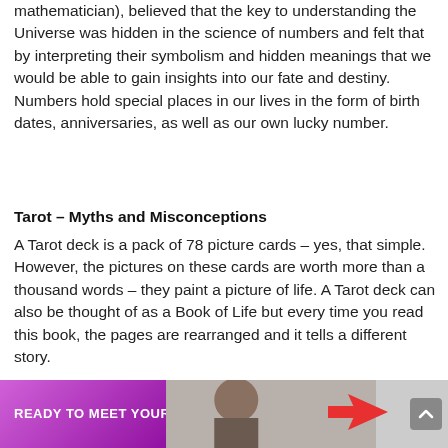mathematician), believed that the key to understanding the Universe was hidden in the science of numbers and felt that by interpreting their symbolism and hidden meanings that we would be able to gain insights into our fate and destiny. Numbers hold special places in our lives in the form of birth dates, anniversaries, as well as our own lucky number.
Tarot – Myths and Misconceptions
A Tarot deck is a pack of 78 picture cards – yes, that simple. However, the pictures on these cards are worth more than a thousand words – they paint a picture of life. A Tarot deck can also be thought of as a Book of Life but every time you read this book, the pages are rearranged and it tells a different story.
[Figure (photo): Banner advertisement with purple/pink background on left with text 'READY TO MEET YOUR', a photo of a person in the center, and a red arrow pointing left on the right side. A grey scroll-to-top button is in the bottom right corner.]